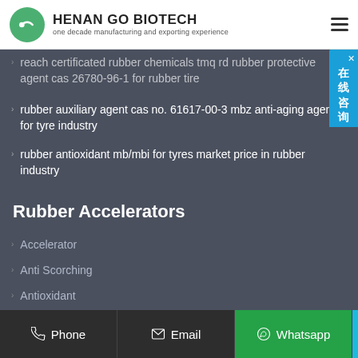HENAN GO BIOTECH — one decade manufacturing and exporting experience
reach certificated rubber chemicals tmq rd rubber protective agent cas 26780-96-1 for rubber tire
rubber auxiliary agent cas no. 61617-00-3 mbz anti-aging agent for tyre industry
rubber antioxidant mb/mbi for tyres market price in rubber industry
Rubber Accelerators
Accelerator
Anti Scorching
Antioxidant
V…
Phone   Email   Whatsapp